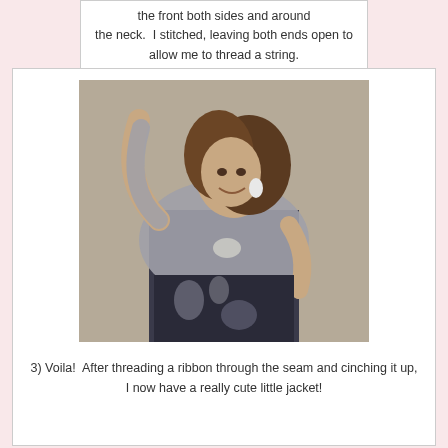the front both sides and around the neck.  I stitched, leaving both ends open to allow me to thread a string.
[Figure (photo): A woman smiling with one arm raised, wearing a gray draped top over a black and white patterned dress, standing against a beige/tan wall.]
3) Voila!  After threading a ribbon through the seam and cinching it up, I now have a really cute little jacket!